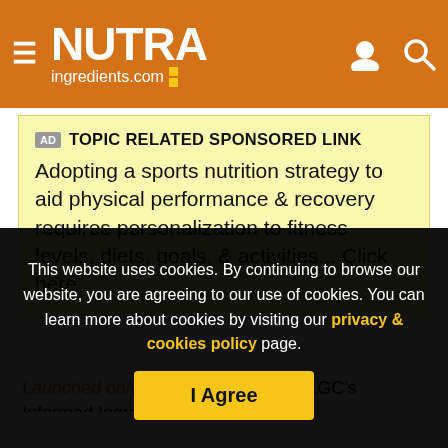NUTRAingredients.com
AD TOPIC RELATED SPONSORED LINK
Adopting a sports nutrition strategy to aid physical performance & recovery requires personalization to fitness levels, diets, goals, & activities... Click here
Launched only this year, UK-based LGC's Informed Ingredient certification scheme...
This website uses cookies. By continuing to browse our website, you are agreeing to our use of cookies. You can learn more about cookies by visiting our privacy & cookies policy page.